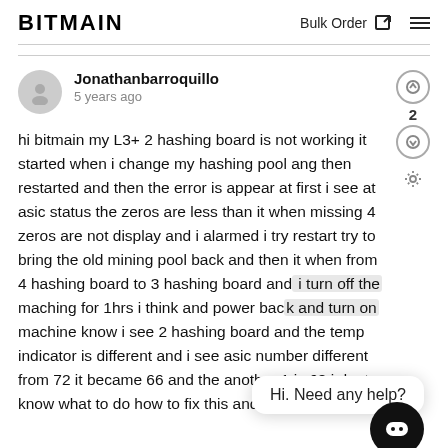BITMAIN | Bulk Order
Jonathanbarroquillo
5 years ago
hi bitmain my L3+ 2 hashing board is not working it started when i change my hashing pool ang then restarted and then the error is appear at first i see at asic status the zeros are less than it when missing 4 zeros are not display and i alarmed i try restart try to bring the old mining pool back and then it when from 4 hashing board to 3 hashing board and i turn off the maching for 1hrs i think and power back and turn on machine know i see 2 hashing board and the temp indicator is different and i see asic number different from 72 it became 66 and the another 1 is 68 i dont know what to do how to fix this and it still can mine